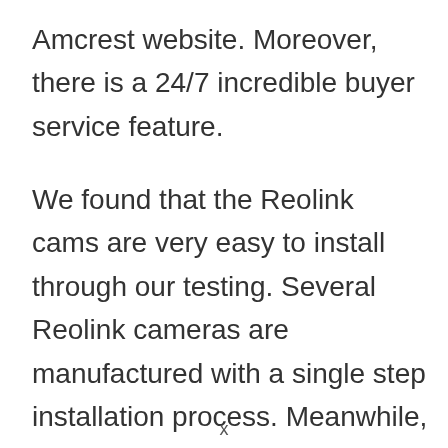Amcrest website. Moreover, there is a 24/7 incredible buyer service feature.
We found that the Reolink cams are very easy to install through our testing. Several Reolink cameras are manufactured with a single step installation process. Meanwhile, the other models need simple mounts. Based on your requirements, you can choose a
x